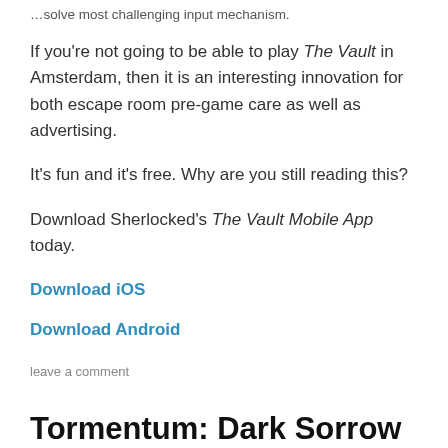…solve most challenging input mechanism.
If you're not going to be able to play The Vault in Amsterdam, then it is an interesting innovation for both escape room pre-game care as well as advertising.
It's fun and it's free. Why are you still reading this?
Download Sherlocked's The Vault Mobile App today.
Download iOS
Download Android
leave a comment
Tormentum: Dark Sorrow [Review]
29 May 2017 by David Spira, posted in Mobile App, Reviews,